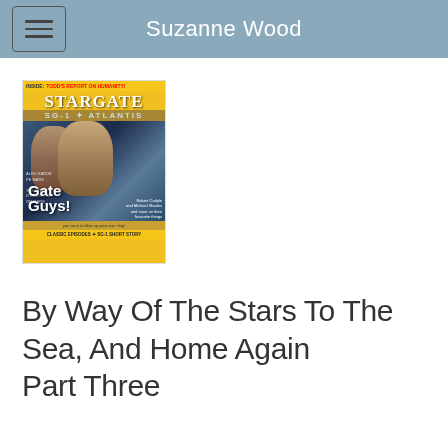Suzanne Wood
[Figure (photo): Magazine cover of Stargate SG-1 Atlantis featuring two male actors ('Gate Guys!') with text 'Inside: Todd's Report on Humanity!' and 'Classic Episodes + SG-1 Short Story' at the bottom.]
By Way Of The Stars To The Sea, And Home Again
Part Three